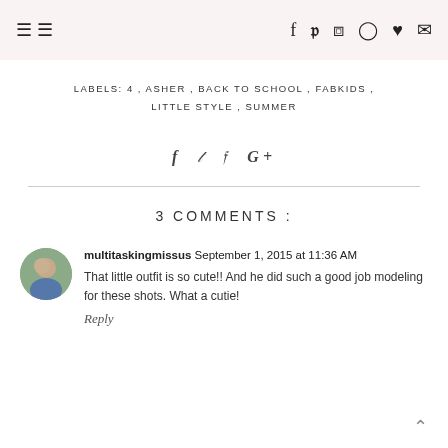≡  f  𝕥  ℗  ○  ♥  ✉
LABELS: 4 , ASHER , BACK TO SCHOOL , FABKIDS , LITTLE STYLE , SUMMER
[Figure (other): Social share icons: f (Facebook), bird (Twitter), P (Pinterest), G+ (Google Plus)]
3 COMMENTS :
multitaskingmissus September 1, 2015 at 11:36 AM
That little outfit is so cute!! And he did such a good job modeling for these shots. What a cutie!
Reply